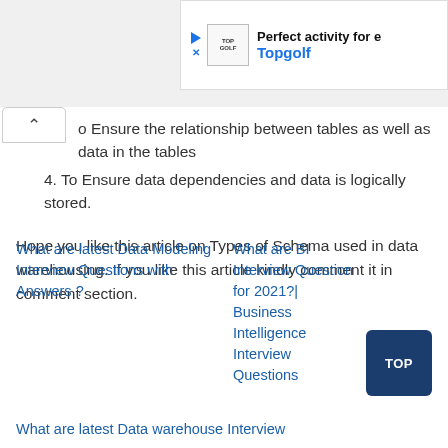[Figure (other): Advertisement banner for Topgolf showing play button icon, Topgolf logo, and text 'Perfect activity for e' and 'Topgolf']
o Ensure the relationship between tables as well as data in the tables
4. To Ensure data dependencies and data is logically stored.
Hope you like this article on Types of Schema used in data warehousing. If you like this article kindly comment it in comment section.
What are latest Data Modeling Interview Questions with Answers ?
What are BI Interview Question for 2021?| Business Intelligence Interview Questions
What are latest Data warehouse Interview